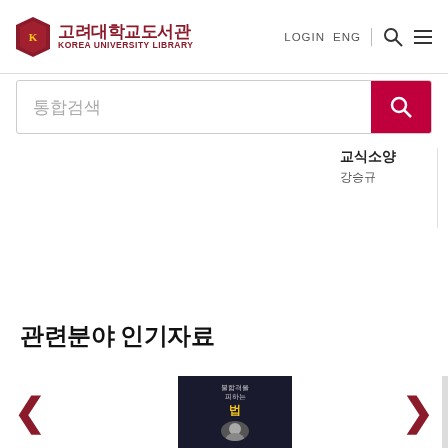[Figure (logo): Korea University Library logo with shield emblem and Korean/English text]
LOGIN  ENG
통합검색
교식소양
강승규
psychotherapy in t teacher's life and w
Jersild, Arthur Thor
관련분야 인기자료
[Figure (photo): Book cover: 불합격을 피하는 법 with person in suit]